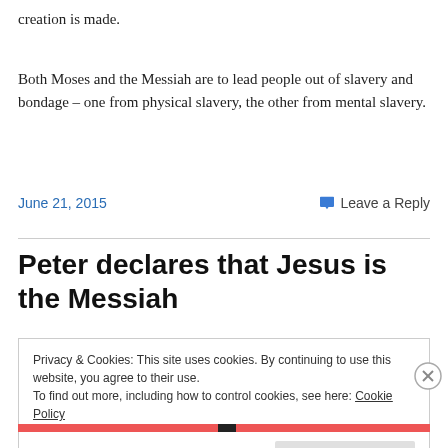creation is made.
Both Moses and the Messiah are to lead people out of slavery and bondage – one from physical slavery, the other from mental slavery.
June 21, 2015
Leave a Reply
Peter declares that Jesus is the Messiah
Privacy & Cookies: This site uses cookies. By continuing to use this website, you agree to their use.
To find out more, including how to control cookies, see here: Cookie Policy
Close and accept